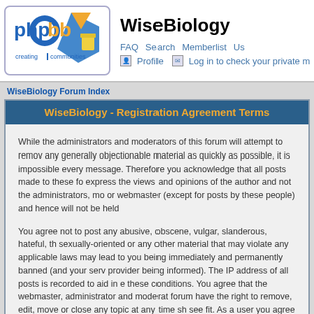[Figure (logo): phpBB logo - blue and orange geometric shapes with text 'phpbb creating communities']
WiseBiology
FAQ  Search  Memberlist  Us...  Profile  Log in to check your private m...
WiseBiology Forum Index
WiseBiology - Registration Agreement Terms
While the administrators and moderators of this forum will attempt to remove any generally objectionable material as quickly as possible, it is impossible every message. Therefore you acknowledge that all posts made to these fo express the views and opinions of the author and not the administrators, mo or webmaster (except for posts by these people) and hence will not be held
You agree not to post any abusive, obscene, vulgar, slanderous, hateful, th sexually-oriented or any other material that may violate any applicable laws may lead to you being immediately and permanently banned (and your serv provider being informed). The IP address of all posts is recorded to aid in e these conditions. You agree that the webmaster, administrator and moderat forum have the right to remove, edit, move or close any topic at any time sh see fit. As a user you agree to any information you have entered above bei in a database. While this information will not be disclosed to any third party your consent the webmaster, administrator and moderators cannot be held responsible for any hacking attempt that may lead to the data being compro
This forum system uses cookies to store information on your local computer cookies do not contain any of the information you have entered above; they only to improve your viewing pleasure. The e-mail address is used only for